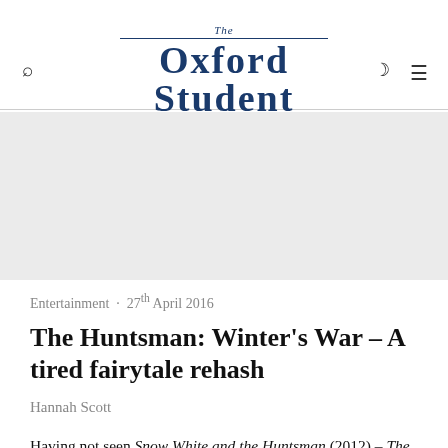The Oxford Student
[Figure (other): Advertisement banner placeholder — light grey rectangle]
Entertainment · 27th April 2016
The Huntsman: Winter's War – A tired fairytale rehash
Hannah Scott
Having not seen Snow White and the Huntsman (2012) – The